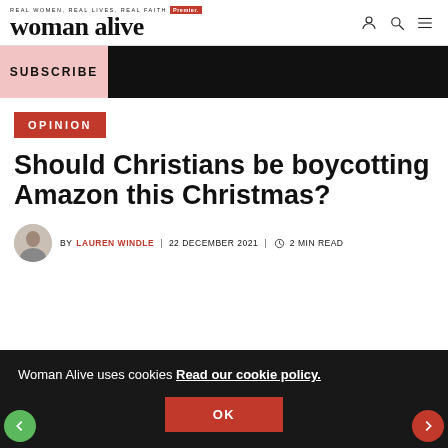REAL WOMEN, REAL LIVES, REAL FAITH | Premier | woman alive
SUBSCRIBE
OPINION
Should Christians be boycotting Amazon this Christmas?
BY LAUREN WINDLE | 22 DECEMBER 2021 | 2 MIN READ
Woman Alive uses cookies Read our cookie policy.
OK